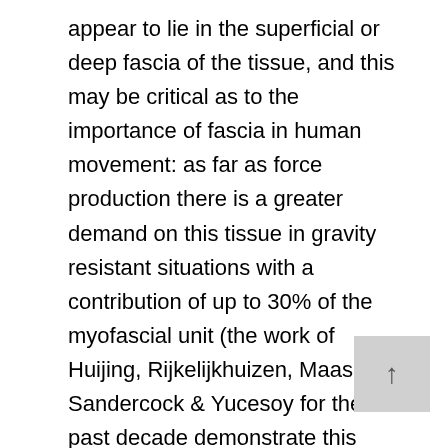appear to lie in the superficial or deep fascia of the tissue, and this may be critical as to the importance of fascia in human movement: as far as force production there is a greater demand on this tissue in gravity resistant situations with a contribution of up to 30% of the myofascial unit (the work of Huijing, Rijkelijkhuizen, Maas, Sandercock & Yucesoy for the past decade demonstrate this aspect of human function clearly and vividly. Boris Hinz has also been also well respected for his recent study of pathogenisis in injury, particularly the skin and wound healing for restoration of normal function). How we can manipulate environments to promote a myofascial rehabilitation/regeneration/conditioning